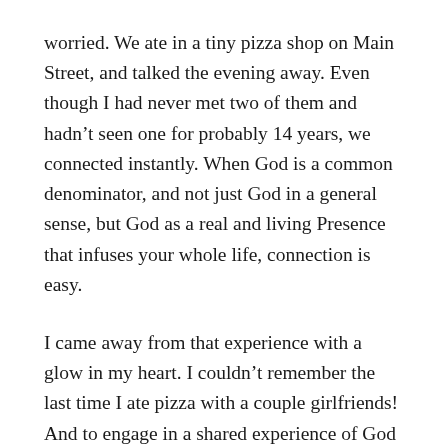worried. We ate in a tiny pizza shop on Main Street, and talked the evening away. Even though I had never met two of them and hadn't seen one for probably 14 years, we connected instantly. When God is a common denominator, and not just God in a general sense, but God as a real and living Presence that infuses your whole life, connection is easy.
I came away from that experience with a glow in my heart. I couldn't remember the last time I ate pizza with a couple girlfriends! And to engage in a shared experience of God made the evening so much richer.
They left, and my old-time friend handed me a book. If God wanted to teach me something about hospitality,